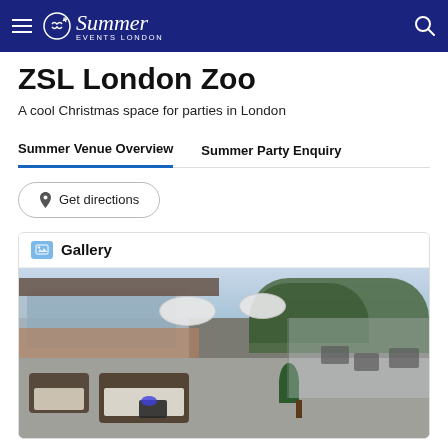Summer Events London
ZSL London Zoo
A cool Christmas space for parties in London
Summer Venue Overview   Summer Party Enquiry
Get directions
Gallery
[Figure (photo): Outdoor terrace/patio area at ZSL London Zoo venue with rattan furniture, parasols, topiary plants, and glass balustrade. A large glass-fronted building is in the background surrounded by trees.]